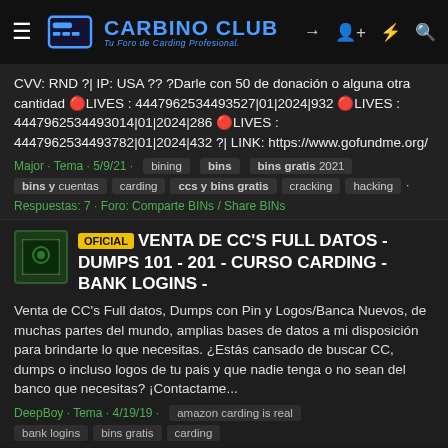CARBINO CLUB - Tu Foro de Carding Profesional.
CVV: RND ?| IP: USA ?? ?Darle con 50 de donación o alguna otra cantidad 🔴LIVES : 4447962534493527|01|2024|932 🔴LIVES : 4447962534493014|01|2024|286 🔴LIVES : 4447962534493782|01|2024|432 ?| LINK: https://www.gofundme.org/
Major · Tema · 5/9/21 · bining bins bins gratis 2021 bins y cuentas carding ccs y bins gratis cracking hacking
Respuestas: 7 · Foro: Comparte BINs / Share BINs
OFICIAL VENTA DE CC'S FULL DATOS - DUMPS 101 - 201 - CURSO CARDING - BANK LOGINS -
Venta de CC's Full datos, Dumps con Pin y Logos/Banca Nuevos, de muchas partes del mundo, amplias bases de datos a mi disposición para brindarte lo que necesitas. ¿Estás cansado de buscar CC, dumps o incluso logos de tu pais y que nadie tenga o no sean del banco que necesitas? ¡Contactame...
DeepBoy · Tema · 4/19/19 · amazon carding is real